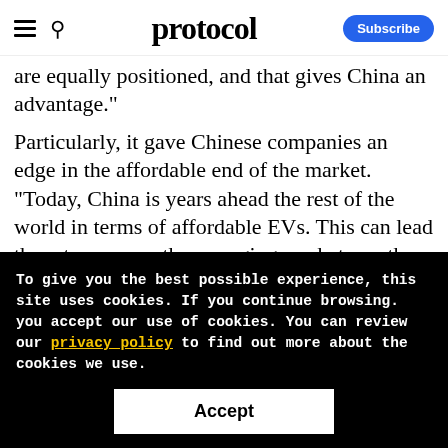protocol
are equally positioned, and that gives China an advantage."
Particularly, it gave Chinese companies an edge in the affordable end of the market. "Today, China is years ahead the rest of the world in terms of affordable EVs. This can lead them to conquer the emerging markets, as they are the only choice for
To give you the best possible experience, this site uses cookies. If you continue browsing. you accept our use of cookies. You can review our privacy policy to find out more about the cookies we use.
Accept